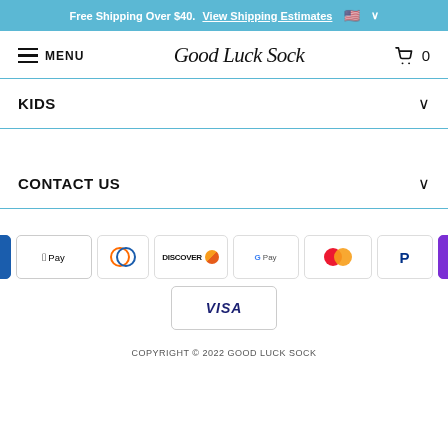Free Shipping Over $40. View Shipping Estimates 🇺🇸 ∨
≡ MENU   Good Luck Sock   🛒 0
KIDS ∨
CONTACT US ∨
[Figure (infographic): Payment method icons: AMEX, Apple Pay, Diners Club, Discover, Google Pay, Mastercard, PayPal, OPay, Visa]
COPYRIGHT © 2022 GOOD LUCK SOCK